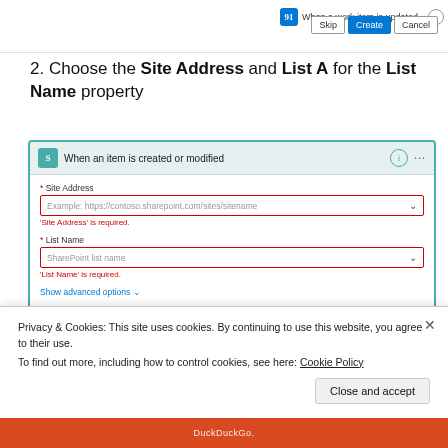[Figure (screenshot): Top strip showing a workflow step 'When a work item is updated' with Skip, Create, and Cancel buttons]
2. Choose the Site Address and List A for the List Name property
[Figure (screenshot): SharePoint trigger card 'When an item is created or modified' showing Site Address and List Name fields with red borders and required error messages, plus Show advanced options link]
3. Add an action 'Initialize Variable' and provide the
Privacy & Cookies: This site uses cookies. By continuing to use this website, you agree to their use.
To find out more, including how to control cookies, see here: Cookie Policy
Close and accept